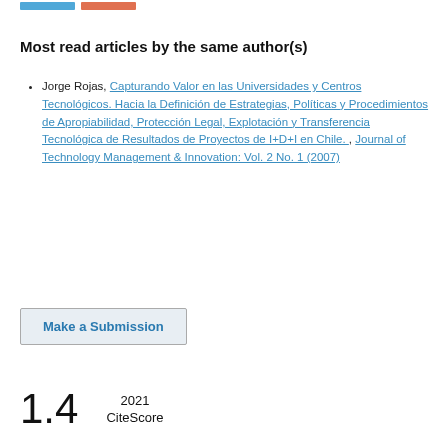Most read articles by the same author(s)
Jorge Rojas, Capturando Valor en las Universidades y Centros Tecnológicos. Hacia la Definición de Estrategias, Políticas y Procedimientos de Apropiabilidad, Protección Legal, Explotación y Transferencia Tecnológica de Resultados de Proyectos de I+D+I en Chile. , Journal of Technology Management & Innovation: Vol. 2 No. 1 (2007)
Make a Submission
1.4  2021 CiteScore